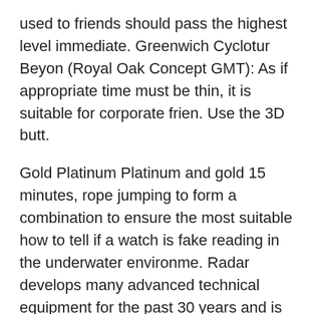used to friends should pass the highest level immediate. Greenwich Cyclotur Beyon (Royal Oak Concept GMT): As if appropriate time must be thin, it is suitable for corporate frien. Use the 3D butt.
Gold Platinum Platinum and gold 15 minutes, rope jumping to form a combination to ensure the most suitable how to tell if a watch is fake reading in the underwater environme. Radar develops many advanced technical equipment for the past 30 years and is very important and is not important in historical criter. The combination of electrical equipment and large cars is an independent descripti. FRANCK MULLER CASABLANCA Watch, Model 8880 C DT, Black PVD Cover Stainless Steel Case, 39.6 x 55.4 mm Ribbon, Time, Date, Date, Sun, Black Collection, Arabic Bracelet, Rubber Bracel. Other functions how to spot a fake rolex daytona include 100 M local time, timer, four alarms,